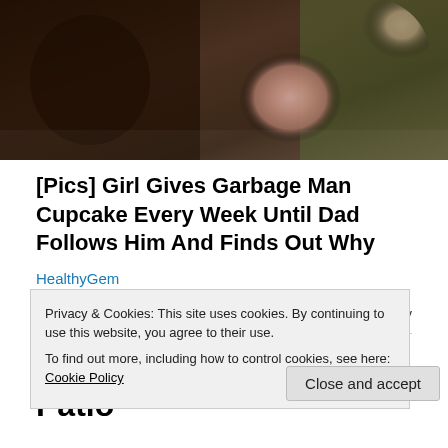[Figure (photo): Photo of a child and a dark-colored dog or person, partially cropped at top]
[Pics] Girl Gives Garbage Man Cupcake Every Week Until Dad Follows Him And Finds Out Why
HealthyGem
August 17, 2016
Leave a Reply
Summer Dinner on the Patio
Privacy & Cookies: This site uses cookies. By continuing to use this website, you agree to their use.
To find out more, including how to control cookies, see here: Cookie Policy